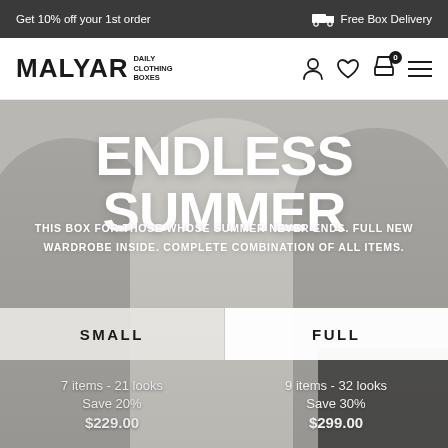Get 10% off your 1st order   Free Box Delivery
[Figure (logo): MALYAR DAILY CLOTHING BOXES logo with navigation icons]
[Figure (photo): Three women in casual summer clothing posing side by side against a gray background]
ENDLESS SUMMER
THIS BOX FOR THOSE WHOSE SUMMER NEVER ENDS. FULL NEW WARDROBE INSIDE. COMPLETE COMBINATION OF ALL ITEMS.
SMALL
FULL
7 items - 21 looks
Save 20%
$229.00
9 items - 32 looks
Save 30%
$299.00